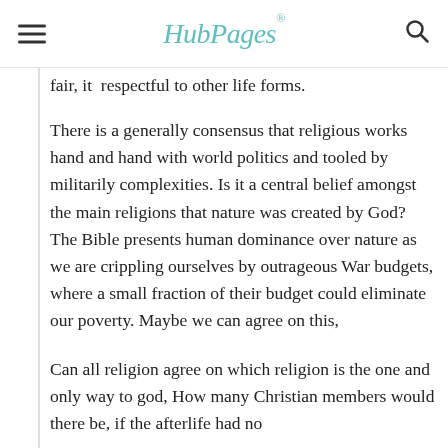HubPages
fair, it  respectful to other life forms.
There is a generally consensus that religious works hand and hand with world politics and tooled by militarily complexities. Is it a central belief amongst the main religions that nature was created by God? The Bible presents human dominance over nature as we are crippling ourselves by outrageous War budgets, where a small fraction of their budget could eliminate our poverty. Maybe we can agree on this,
Can all religion agree on which religion is the one and only way to god, How many Christian members would there be, if the afterlife had no existence of hell? For and his merit does